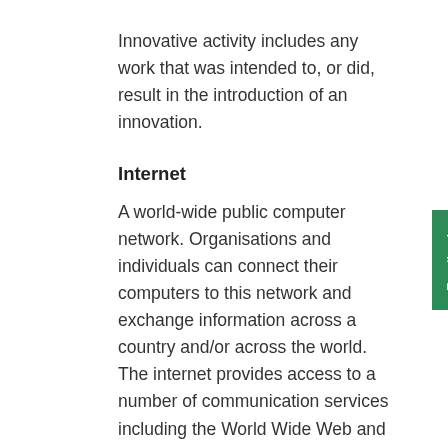Innovative activity includes any work that was intended to, or did, result in the introduction of an innovation.
Internet
A world-wide public computer network. Organisations and individuals can connect their computers to this network and exchange information across a country and/or across the world. The internet provides access to a number of communication services including the World Wide Web and carries email, news, entertainment and data files.